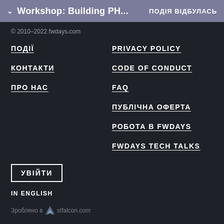Workshop: Building PH... ПОДІЯ ВІДБУЛАСЬ
© 2010–2022 fwdays.com
ПОДІЇ
PRIVACY POLICY
КОНТАКТИ
CODE OF CONDUCT
ПРО НАС
FAQ
ПУБЛІЧНА ОФЕРТА
РОБОТА В FWDAYS
FWDAYS TECH TALKS
УВІЙТИ
IN ENGLISH
Зроблено в stfalcon.com